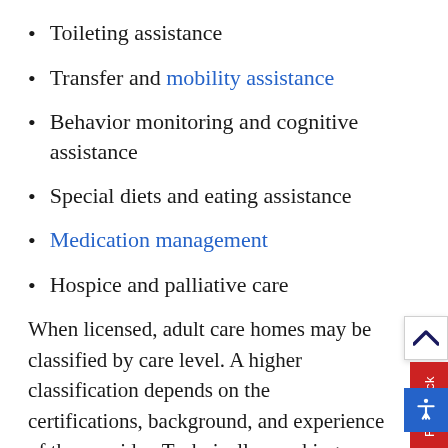Toileting assistance
Transfer and mobility assistance
Behavior monitoring and cognitive assistance
Special diets and eating assistance
Medication management
Hospice and palliative care
When licensed, adult care homes may be classified by care level. A higher classification depends on the certifications, background, and experience of the provider. Technically speaking, a care home does not need licensed medical professionals living on site. With that said,